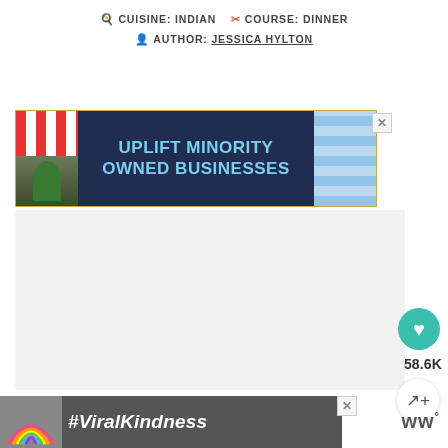🍳 CUISINE: INDIAN  🍴 COURSE: DINNER  👤 AUTHOR: JESSICA HYLTON
[Figure (infographic): Advertisement banner: dark blue background with red and white striped awning on left, storefront with plant, centered white/blue text 'UPLIFT MINORITY OWNED BUSINESSES', blue checkered pattern on right. Close X button top right.]
[Figure (infographic): Gray empty content area placeholder rectangle.]
[Figure (infographic): Teal circular heart/favorite button with white heart icon showing 58.6K count below, and a white circular share button below that.]
[Figure (infographic): Advertisement banner at bottom: dark background with rainbow chalk art on left and #ViralKindness white italic text. Close X button. WW logo on right.]